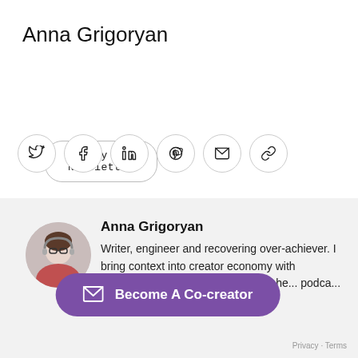Anna Grigoryan
Weekly Newsletter
[Figure (infographic): Six social media icon circles: Twitter (bird), Facebook (f), LinkedIn (in), Pinterest (p), Email (envelope), Link (chain link)]
[Figure (photo): Circular profile photo of Anna Grigoryan, a woman with glasses wearing a pink/red outfit]
Anna Grigoryan
Writer, engineer and recovering over-achiever. I bring context into creator economy with Community Weekly newsletter and he... podca...
Become A Co-creator
Privacy · Terms